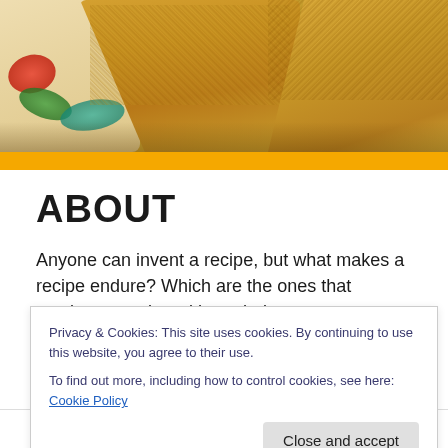[Figure (photo): Close-up photo of baked pastries or bread covered in chopped nuts/crumbs, on a colorful patterned plate with floral/paisley design]
ABOUT
Anyone can invent a recipe, but what makes a recipe endure? Which are the ones that survive centuries without their ever even having been written down? What are the
Privacy & Cookies: This site uses cookies. By continuing to use this website, you agree to their use.
To find out more, including how to control cookies, see here: Cookie Policy
Close and accept